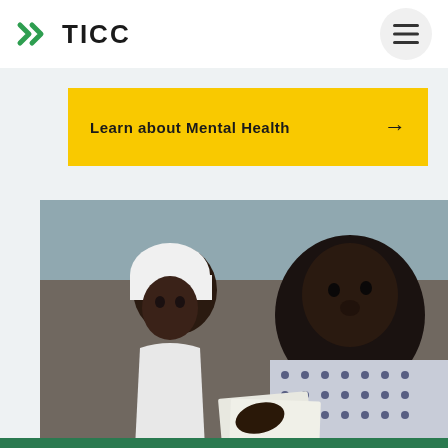TICC
Learn about Mental Health →
[Figure (photo): A young woman wearing a white head covering and white shirt looks attentively at a man in a patterned shirt who is reviewing documents. There is a group of people in the background in an outdoor setting.]